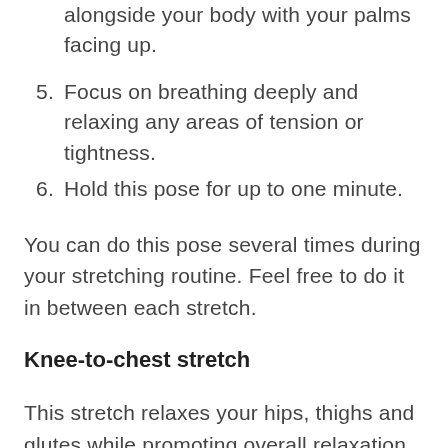alongside your body with your palms facing up.
5. Focus on breathing deeply and relaxing any areas of tension or tightness.
6. Hold this pose for up to one minute.
You can do this pose several times during your stretching routine. Feel free to do it in between each stretch.
Knee-to-chest stretch
This stretch relaxes your hips, thighs and glutes while promoting overall relaxation.
To do a knee-to-chest stretch, follow these steps: